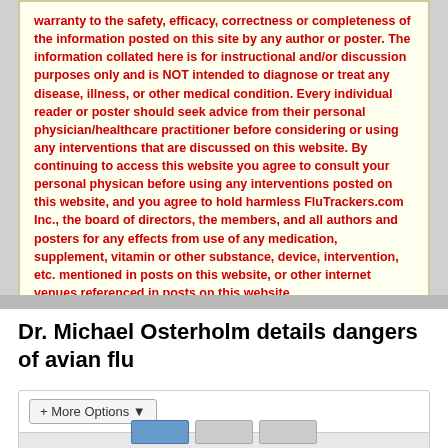warranty to the safety, efficacy, correctness or completeness of the information posted on this site by any author or poster. The information collated here is for instructional and/or discussion purposes only and is NOT intended to diagnose or treat any disease, illness, or other medical condition. Every individual reader or poster should seek advice from their personal physician/healthcare practitioner before considering or using any interventions that are discussed on this website. By continuing to access this website you agree to consult your personal physican before using any interventions posted on this website, and you agree to hold harmless FluTrackers.com Inc., the board of directors, the members, and all authors and posters for any effects from use of any medication, supplement, vitamin or other substance, device, intervention, etc. mentioned in posts on this website, or other internet venues referenced in posts on this website.
Dr. Michael Osterholm details dangers of avian flu